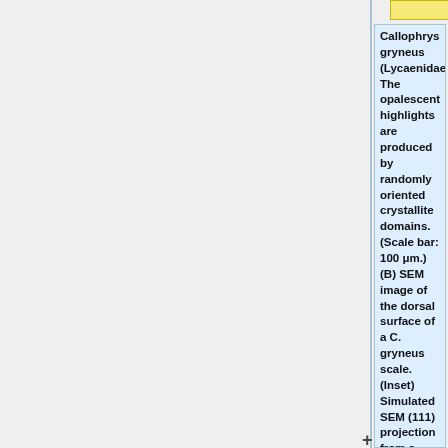[Figure (other): Partial view of a yellow-outlined box at top center of the page, and a light-blue outlined box to its right. Left portion of page is a gray background panel. A vertical divider separates the left panel from a right annotation panel.]
Callophrys gryneus (Lycaenidae). The opalescent highlights are produced by randomly oriented crystallite domains. (Scale bar: 100 μm.) (B) SEM image of the dorsal surface of a C. gryneus scale. (Inset) Simulated SEM (111) projection from a thick slab of a level set single gyroid